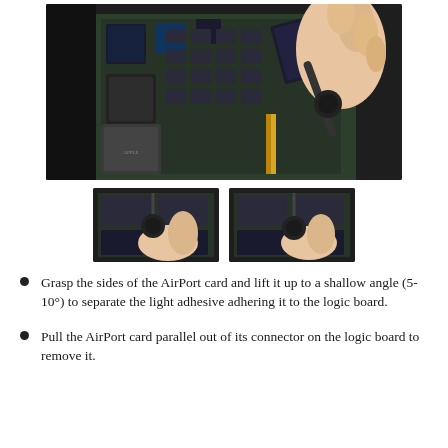[Figure (photo): A hand grasping and lifting an AirPort card from a MacBook logic board, showing the internal components of the laptop.]
[Figure (photo): Close-up thumbnail of a hand lifting the AirPort card from the MacBook logic board at a shallow angle.]
[Figure (photo): Second close-up thumbnail of a hand lifting the AirPort card from the MacBook logic board.]
Grasp the sides of the AirPort card and lift it up to a shallow angle (5-10°) to separate the light adhesive adhering it to the logic board.
Pull the AirPort card parallel out of its connector on the logic board to remove it.